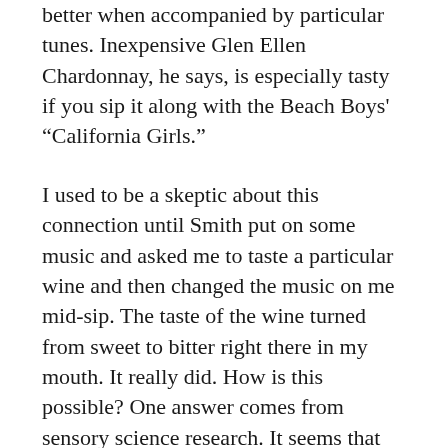better when accompanied by particular tunes. Inexpensive Glen Ellen Chardonnay, he says, is especially tasty if you sip it along with the Beach Boys' “California Girls.”
I used to be a skeptic about this connection until Smith put on some music and asked me to taste a particular wine and then changed the music on me mid-sip. The taste of the wine turned from sweet to bitter right there in my mouth. It really did. How is this possible? One answer comes from sensory science research. It seems that there are parts of the brain that are particularly involved in appreciating wine and these overlap to a certain extent with the music appreciation areas. Change one element and you can sometimes change the other. Incredible.
Just because the sensory appreciation of music and wine are